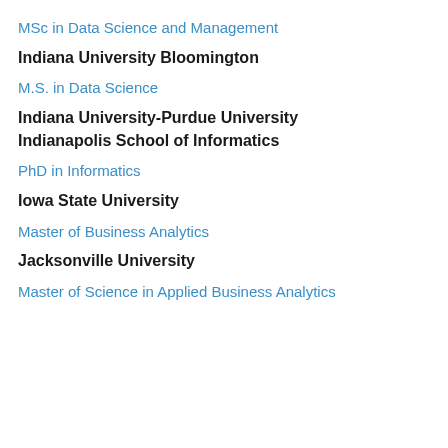MSc in Data Science and Management
Indiana University Bloomington
M.S. in Data Science
Indiana University-Purdue University Indianapolis School of Informatics
PhD in Informatics
Iowa State University
Master of Business Analytics
Jacksonville University
Master of Science in Applied Business Analytics